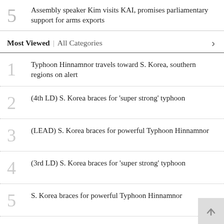5 Assembly speaker Kim visits KAI, promises parliamentary support for arms exports
Most Viewed | All Categories
1 Typhoon Hinnamnor travels toward S. Korea, southern regions on alert
2 (4th LD) S. Korea braces for 'super strong' typhoon
3 (LEAD) S. Korea braces for powerful Typhoon Hinnamnor
4 (3rd LD) S. Korea braces for 'super strong' typhoon
5 S. Korea braces for powerful Typhoon Hinnamnor